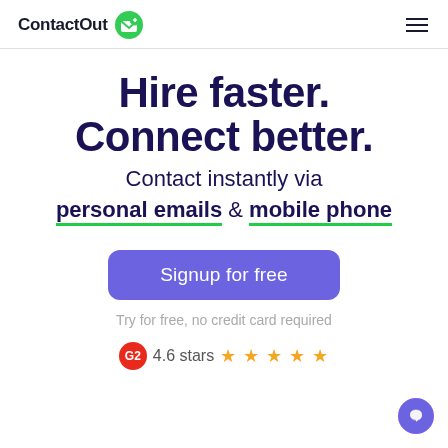ContactOut
Hire faster. Connect better.
Contact instantly via personal emails & mobile phone
Signup for free
Try for free, no credit card required
4.6 stars